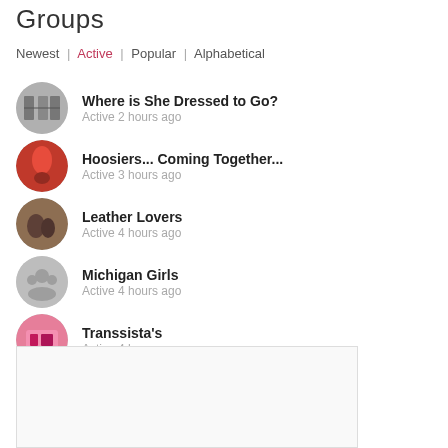Groups
Newest | Active | Popular | Alphabetical
Where is She Dressed to Go? — Active 2 hours ago
Hoosiers... Coming Together... — Active 3 hours ago
Leather Lovers — Active 4 hours ago
Michigan Girls — Active 4 hours ago
Transsista's — Active 4 hours ago
[Figure (other): Advertisement placeholder box]